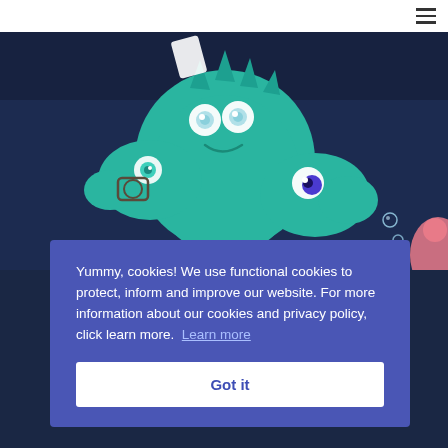[Figure (illustration): Cartoon illustration of teal/green sea creatures (a fish, a smiling sea monster/dragon, and another fish) on a dark navy blue ocean background with bubbles. Partially visible pink creature on the right edge.]
Yummy, cookies! We use functional cookies to protect, inform and improve our website. For more information about our cookies and privacy policy, click learn more.  Learn more
Got it